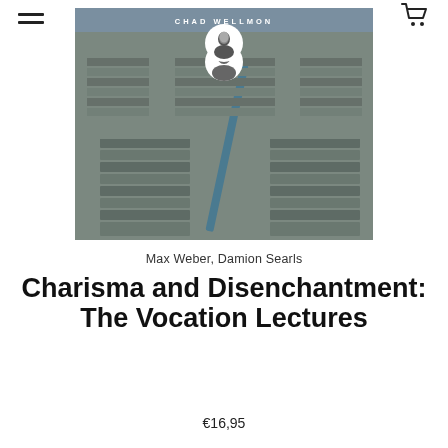≡ [hamburger menu] [cart icon]
[Figure (photo): Book cover of 'Charisma and Disenchantment: The Vocation Lectures' by Chad Wellmon, showing stacked grey books with a blue/teal spine visible diagonally. A publisher's portrait logo is centered at the top of the cover on a blue-grey background strip reading 'CHAD WELLMON'.]
Max Weber, Damion Searls
Charisma and Disenchantment: The Vocation Lectures
€16,95